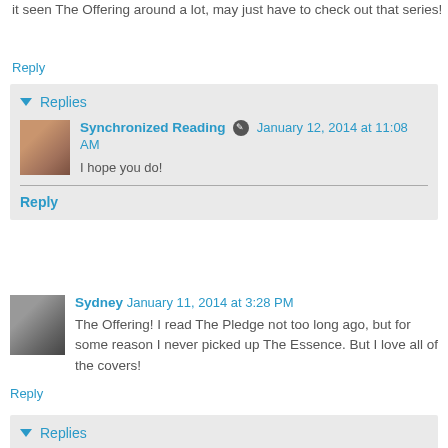it seen The Offering around a lot, may just have to check out that series!
Reply
Replies
Synchronized Reading  January 12, 2014 at 11:08 AM
I hope you do!
Reply
Sydney  January 11, 2014 at 3:28 PM
The Offering! I read The Pledge not too long ago, but for some reason I never picked up The Essence. But I love all of the covers!
Reply
Replies